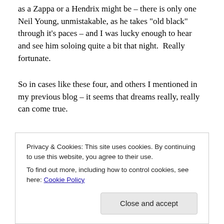as a Zappa or a Hendrix might be – there is only one Neil Young, unmistakable, as he takes “old black” through it’s paces – and I was lucky enough to hear and see him soloing quite a bit that night.  Really fortunate.
So in cases like these four, and others I mentioned in my previous blog – it seems that dreams really, really can come true.
Awesome Guitarists – one motivator for
Privacy & Cookies: This site uses cookies. By continuing to use this website, you agree to their use.
To find out more, including how to control cookies, see here: Cookie Policy